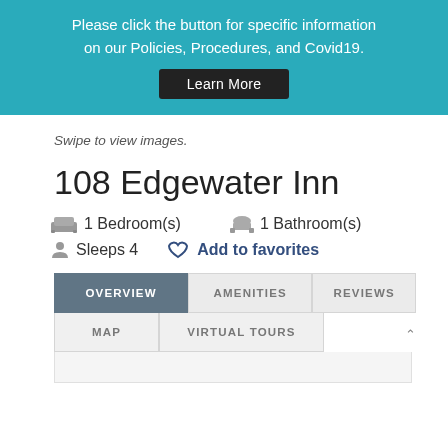Please click the button for specific information on our Policies, Procedures, and Covid19.
Learn More
Swipe to view images.
108 Edgewater Inn
1 Bedroom(s)
1 Bathroom(s)
Sleeps 4
Add to favorites
OVERVIEW  AMENITIES  REVIEWS  MAP  VIRTUAL TOURS